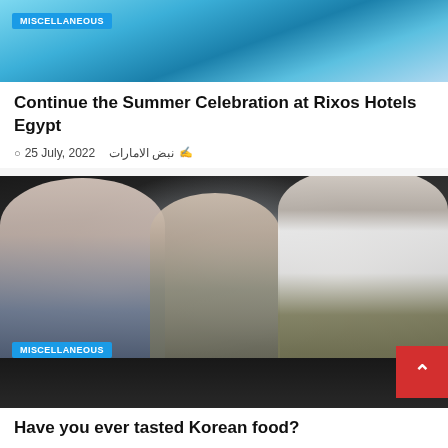[Figure (photo): Top image showing a summer resort/pool scene at Rixos Hotels Egypt with a MISCELLANEOUS badge overlay]
Continue the Summer Celebration at Rixos Hotels Egypt
25 July, 2022  نبض الامارات
[Figure (photo): Photo of two women in hijabs and a chef in apron cooking Korean food at a food station, with a MISCELLANEOUS badge overlay and a red scroll-to-top button]
Have you ever tasted Korean food?